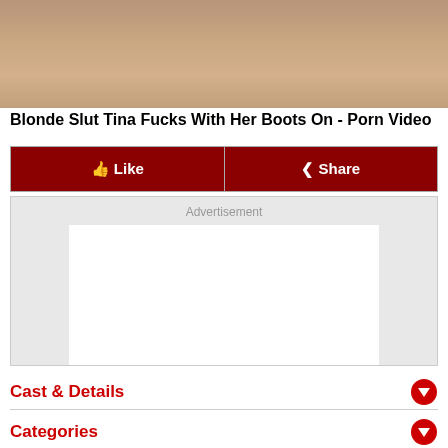[Figure (photo): Cropped photo at top of page, showing people in an intimate scene]
Blonde Slut Tina Fucks With Her Boots On - Porn Video
[Figure (other): Like and Share button bar with dark red background]
[Figure (other): Advertisement box with white content area]
Cast & Details
Categories
[Figure (other): Related Videos and User Comments (0) tab bar]
[Figure (photo): Three video thumbnail images at the bottom of the page]